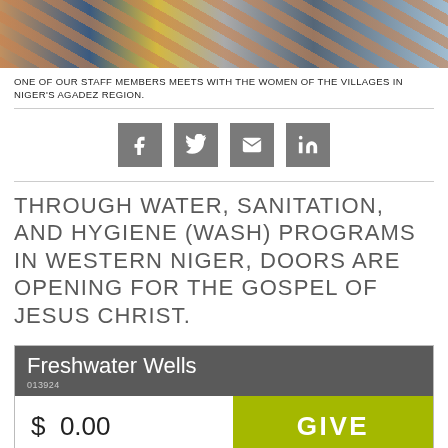[Figure (photo): A strip of colorful photos showing women in traditional African clothing and fabric patterns from Niger's Agadez region.]
ONE OF OUR STAFF MEMBERS MEETS WITH THE WOMEN OF THE VILLAGES IN NIGER'S AGADEZ REGION.
THROUGH WATER, SANITATION, AND HYGIENE (WASH) PROGRAMS IN WESTERN NIGER, DOORS ARE OPENING FOR THE GOSPEL OF JESUS CHRIST.
| Freshwater Wells | 013924 | $ 0.00 | GIVE |
| --- | --- | --- | --- |
During Niger's dry season, Aminatou Ibran would wake early each morning to join the other village women on a nearly nine-mile trek to gather water for drinking, cooking, and